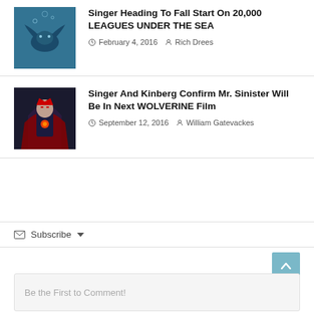[Figure (illustration): Thumbnail image for 20,000 Leagues Under the Sea article - blue underwater scene with creature]
Singer Heading To Fall Start On 20,000 LEAGUES UNDER THE SEA
February 4, 2016  Rich Drees
[Figure (illustration): Thumbnail image for Wolverine article - dark comic art of Mr. Sinister character]
Singer And Kinberg Confirm Mr. Sinister Will Be In Next WOLVERINE Film
September 12, 2016  William Gatevackes
Subscribe
Be the First to Comment!